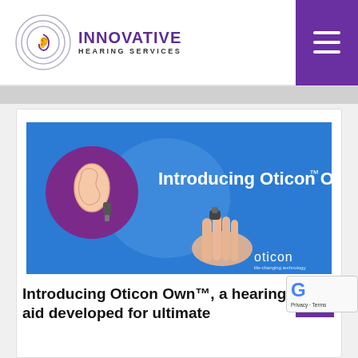Innovative Hearing Services
[Figure (photo): Promotional image for Oticon Own hearing aid. Blue background with a hand holding a small in-ear hearing aid device. On the left is a purple circle with an illustration of an ear wearing a small hearing aid. Text in the image reads 'Introducing Oticon Own™'. The Oticon logo appears in the lower right corner.]
Introducing Oticon Own™, a hearing aid developed for ultimate